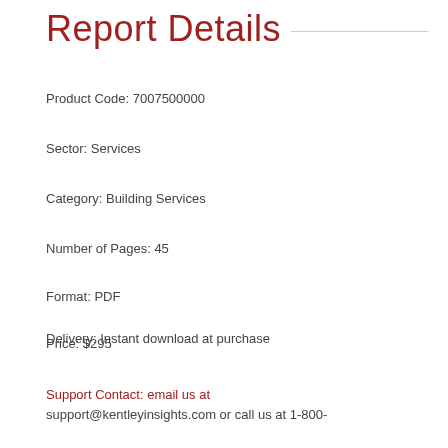Report Details
Product Code: 7007500000
Sector: Services
Category: Building Services
Number of Pages: 45
Format: PDF
Price: $295
Delivery: Instant download at purchase
Support Contact: email us at support@kentleyinsights.com or call us at 1-800-